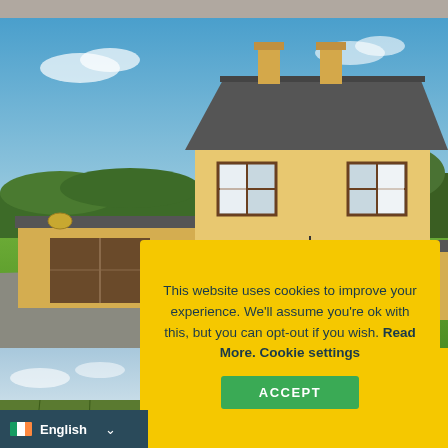[Figure (photo): Exterior photo of a two-storey Irish house with yellow render walls, grey slate roof with two chimneys, attached garage on left side, surrounded by green fields and trees, blue sky]
This website uses cookies to improve your experience. We'll assume you're ok with this, but you can opt-out if you wish. Read More. Cookie settings
ACCEPT
[Figure (photo): Smaller landscape photo showing fields and sky]
English